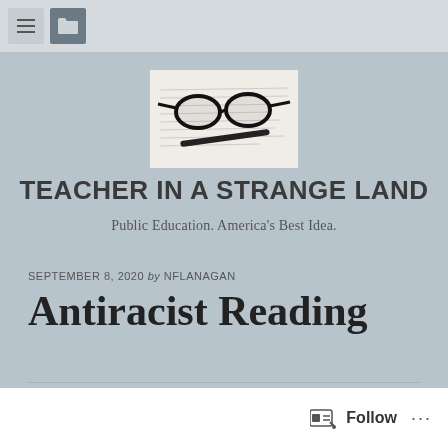[Figure (photo): A photo of reading glasses resting on an open book with a pen, black and white tones]
TEACHER IN A STRANGE LAND
Public Education. America's Best Idea.
SEPTEMBER 8, 2020 by NFLANAGAN
Antiracist Reading
AMERICAN POLITICS · ANTI-RACIST TEACHING · BOOKS
Follow ...